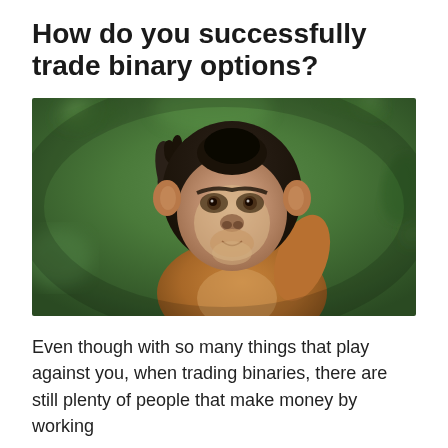How do you successfully trade binary options?
[Figure (photo): A capuchin monkey scratching its head with one hand raised, set against a blurred green foliage background.]
Even though with so many things that play against you, when trading binaries, there are still plenty of people that make money by working